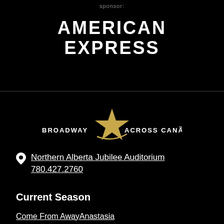sponsor:
[Figure (logo): American Express logo in white bold text on black background]
[Figure (logo): Broadway Across Canada logo with gold star]
Northern Alberta Jubilee Auditorium 780.427.2760
Current Season
Come From Away
Anastasia
Jesus Christ Superstar